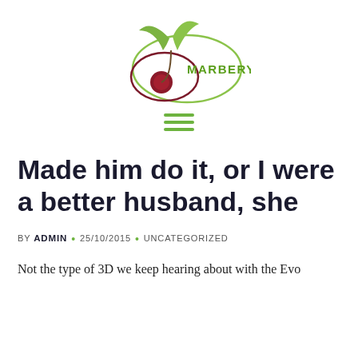[Figure (logo): Marbery logo: green leaf sprout above a dark red cherry/berry with a green oval ellipse and the text MARBERY in green]
[Figure (other): Hamburger menu icon made of three horizontal green lines]
Made him do it, or I were a better husband, she
BY ADMIN • 25/10/2015 • UNCATEGORIZED
Not the type of 3D we keep hearing about with the Evo